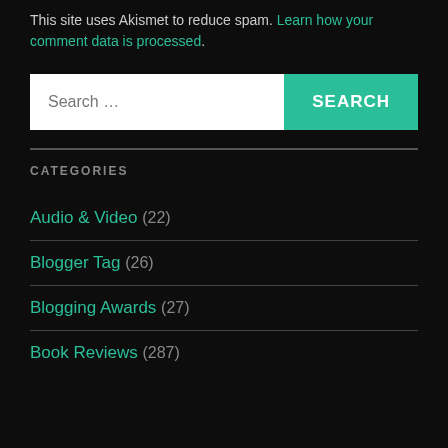This site uses Akismet to reduce spam. Learn how your comment data is processed.
[Figure (other): Search bar with text input field placeholder 'Search ...' and green SEARCH button]
CATEGORIES
Audio & Video (22)
Blogger Tag (26)
Blogging Awards (27)
Book Reviews (287)